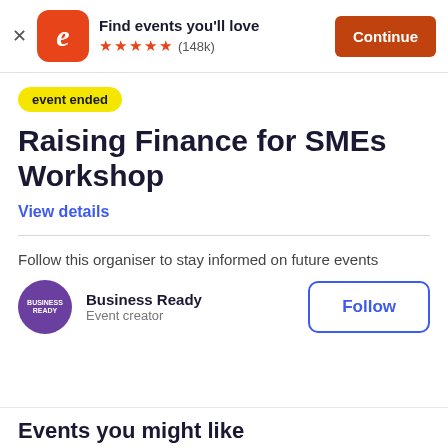Find events you'll love ★★★★★ (148k) Continue
event ended
Raising Finance for SMEs Workshop
View details
Follow this organiser to stay informed on future events
Business Ready
Event creator
Follow
Events you might like